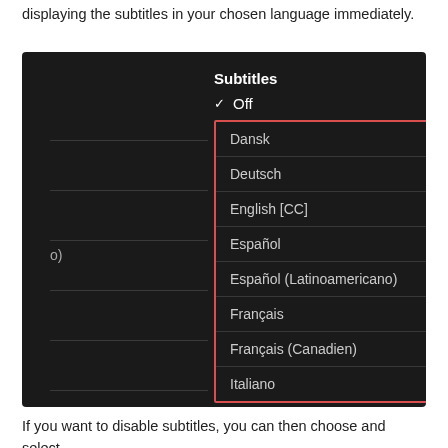displaying the subtitles in your chosen language immediately.
[Figure (screenshot): Screenshot of a dark-themed subtitles menu showing options: Off (checked), and a red-bordered list containing Dansk, Deutsch, English [CC], Español, Español (Latinoamericano), Français, Français (Canadien), Italiano]
If you want to disable subtitles, you can then choose and select